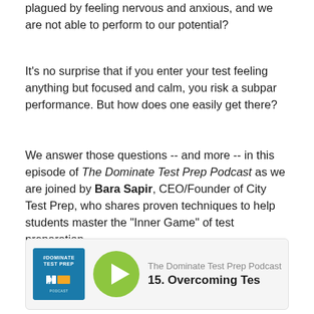plagued by feeling nervous and anxious, and we are not able to perform to our potential?
It's no surprise that if you enter your test feeling anything but focused and calm, you risk a subpar performance. But how does one easily get there?
We answer those questions -- and more -- in this episode of The Dominate Test Prep Podcast as we are joined by Bara Sapir, CEO/Founder of City Test Prep, who shares proven techniques to help students master the "Inner Game" of test preparation.
[Figure (screenshot): Podcast player card showing The Dominate Test Prep Podcast logo on the left, a green play button in the center, and episode title '15. Overcoming Tes' on the right with a waveform at the bottom.]